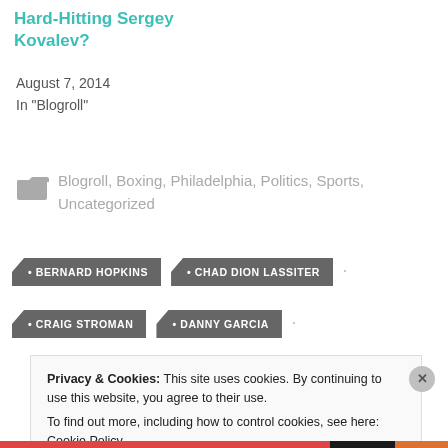Hard-Hitting Sergey Kovalev?
August 7, 2014
In "Blogroll"
Blogroll, Boxing, Philadelphia, Politics, Sports, Uncategorized
BERNARD HOPKINS
CHAD DION LASSITER
CRAIG STROMAN
DANNY GARCIA
Privacy & Cookies: This site uses cookies. By continuing to use this website, you agree to their use. To find out more, including how to control cookies, see here: Cookie Policy